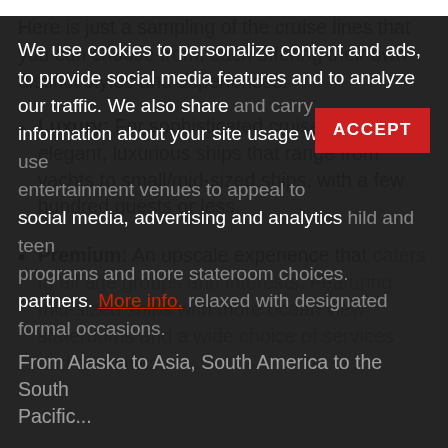Here is just a sampling of the cruise lines that you can choose from, each offering their own distinct styles and experiences:
Luxury: For sophisticated cruisers with elegant, luxurious ships that range from yachts to small/mid-sized ships, with a few hundred guests or less.
Premium: An upscale experience that caters to all age groups and interests. Featuring mid-sized ships with more ocean view staterooms and a wide choice of services and amenities.
We use cookies to personalize content and ads, to provide social media features and to analyze our traffic. We also share information about your site usage with our social media, advertising and analytics partners. More info.
From Alaska to Asia, South America to the South Pacific...